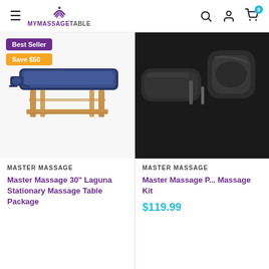MyMassageTable — navigation header with hamburger menu, logo, search, account, and cart (0 items)
[Figure (photo): Navy blue stationary massage table with wooden legs and lower shelf, face cradle attached, no linens]
Best Seller
Save $50
MASTER MASSAGE
Master Massage 30" Laguna Stationary Massage Table Package
[Figure (photo): Black massage chair armrest and face cradle close-up, partially cropped]
MASTER MASSAGE
Master Massage P... Massage Kit
$119.99